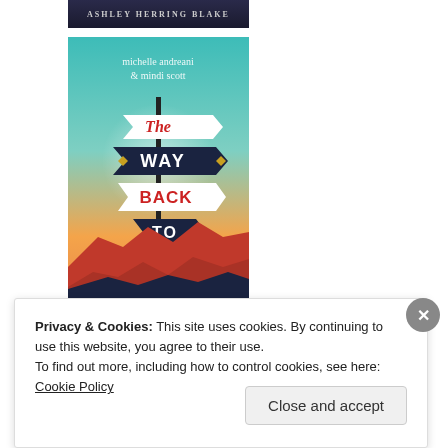[Figure (illustration): Partial book cover showing 'ASHLEY HERRING BLAKE' text at top]
[Figure (illustration): Book cover for 'The Way Back to You' by michelle andreani & mindi scott. Shows a road sign post with four signs reading 'The', 'WAY', 'BACK', 'TO', 'you' against a teal-to-orange gradient sky with red rock desert silhouettes at the bottom.]
Privacy & Cookies: This site uses cookies. By continuing to use this website, you agree to their use. To find out more, including how to control cookies, see here: Cookie Policy
Close and accept